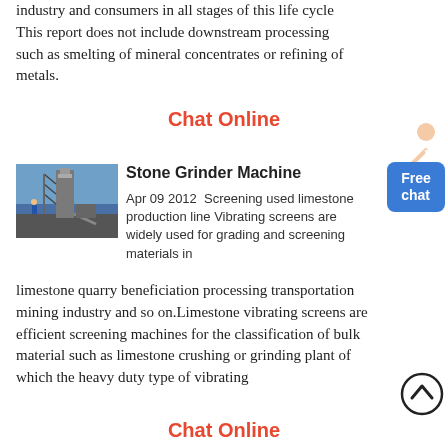industry and consumers in all stages of this life cycle This report does not include downstream processing such as smelting of mineral concentrates or refining of metals.
Chat Online
[Figure (photo): Industrial stone grinder machine with metal structure and worker in background]
Stone Grinder Machine
Apr 09 2012  Screening used limestone production line Vibrating screens are widely used for grading and screening materials in limestone quarry beneficiation processing transportation mining industry and so on.Limestone vibrating screens are efficient screening machines for the classification of bulk material such as limestone crushing or grinding plant of which the heavy duty type of vibrating
Chat Online